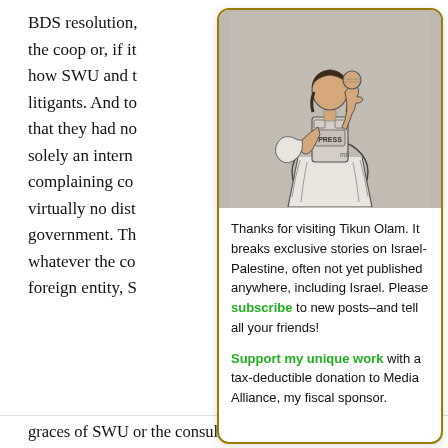BDS resolution, the coop or, if it how SWU and t litigants. And to that they had no solely an intern complaining co virtually no dist government. Th whatever the co foreign entity, S
Privacy & Cookies: website, you agree To find out more, i Policy
[Figure (illustration): Illustration of a woman in press vest with fist raised, styled as a Statue of Liberty holding a map silhouette]
Thanks for visiting Tikun Olam. It breaks exclusive stories on Israel-Palestine, often not yet published anywhere, including Israel. Please subscribe to new posts–and tell all your friends!

Support my unique work with a tax-deductible donation to Media Alliance, my fiscal sponsor.
graces of SWU or the consulate they found Avi Lipman,